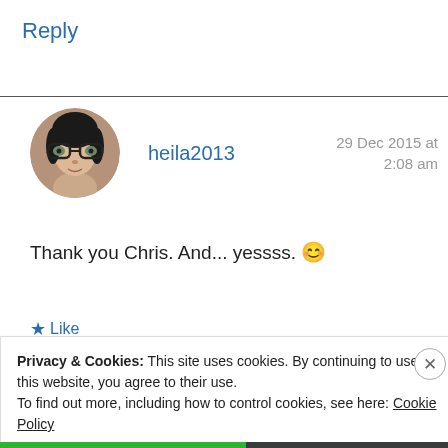Reply
[Figure (photo): Circular avatar photo of a woman with glasses and dark hair]
heila2013
29 Dec 2015 at 2:08 am
Thank you Chris. And... yessss. 😊
★ Like
Privacy & Cookies: This site uses cookies. By continuing to use this website, you agree to their use.
To find out more, including how to control cookies, see here: Cookie Policy
Close and accept